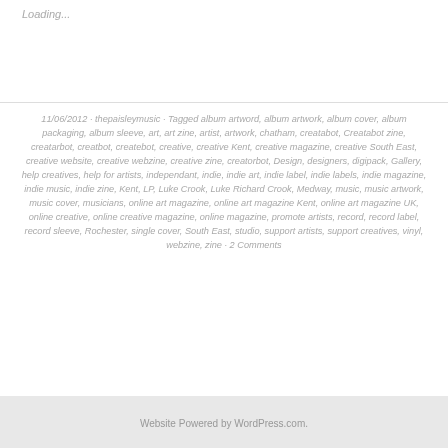Loading...
11/06/2012 · thepaisleymusic · Tagged album artword, album artwork, album cover, album packaging, album sleeve, art, art zine, artist, artwork, chatham, creatabot, Creatabot zine, creatarbot, creatbot, createbot, creative, creative Kent, creative magazine, creative South East, creative website, creative webzine, creative zine, creatorbot, Design, designers, digipack, Gallery, help creatives, help for artists, independant, indie, indie art, indie label, indie labels, indie magazine, indie music, indie zine, Kent, LP, Luke Crook, Luke Richard Crook, Medway, music, music artwork, music cover, musicians, online art magazine, online art magazine Kent, online art magazine UK, online creative, online creative magazine, online magazine, promote artists, record, record label, record sleeve, Rochester, single cover, South East, studio, support artists, support creatives, vinyl, webzine, zine · 2 Comments
Website Powered by WordPress.com.